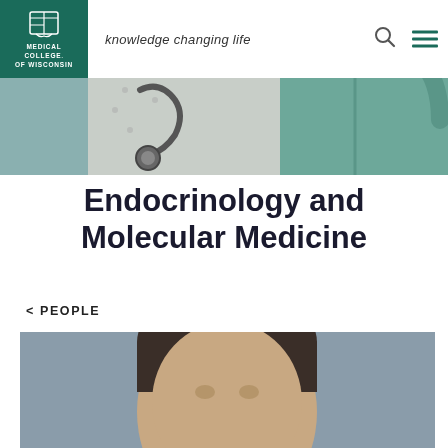Medical College of Wisconsin — knowledge changing life
[Figure (photo): Hero banner photo showing medical professionals with stethoscope, wearing scrubs]
Endocrinology and Molecular Medicine
< PEOPLE
[Figure (photo): Headshot of a person with dark hair against a grey background]